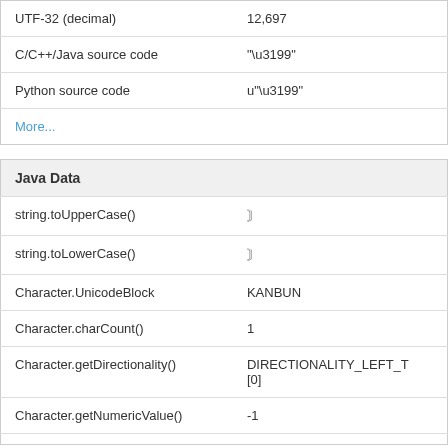| UTF-32 (decimal) | 12,697 |
| C/C++/Java source code | "\u3199" |
| Python source code | u"\u3199" |
| More... |  |
| Java Data |  |
| --- | --- |
| string.toUpperCase() | 〙 |
| string.toLowerCase() | 〙 |
| Character.UnicodeBlock | KANBUN |
| Character.charCount() | 1 |
| Character.getDirectionality() | DIRECTIONALITY_LEFT_T [0] |
| Character.getNumericValue() | -1 |